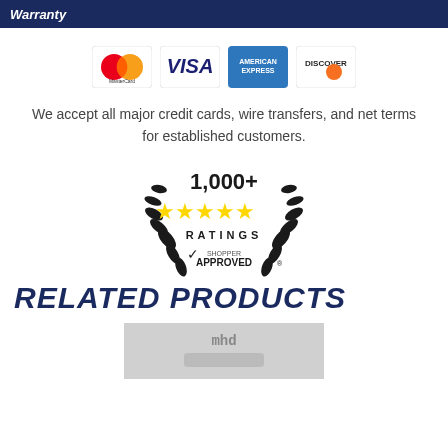Warranty
[Figure (logo): Credit card logos: MasterCard, VISA, American Express, Discover]
We accept all major credit cards, wire transfers, and net terms for established customers.
[Figure (illustration): 1,000+ Ratings Shopper Approved badge with gold stars and laurel wreath]
RELATED PRODUCTS
[Figure (photo): Product image thumbnail (partially visible, appears to show a device)]